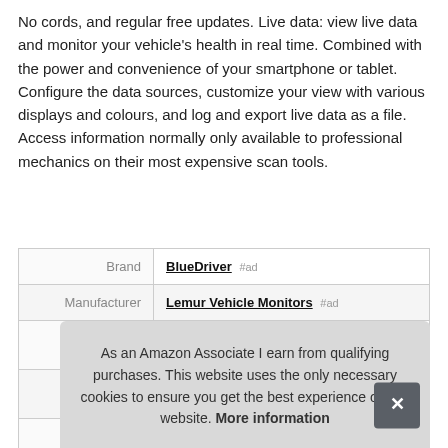No cords, and regular free updates. Live data: view live data and monitor your vehicle's health in real time. Combined with the power and convenience of your smartphone or tablet. Configure the data sources, customize your view with various displays and colours, and log and export live data as a file. Access information normally only available to professional mechanics on their most expensive scan tools.
|  |  |
| --- | --- |
| Brand | BlueDriver #ad |
| Manufacturer | Lemur Vehicle Monitors #ad |
|  |  |
|  |  |
|  |  |
As an Amazon Associate I earn from qualifying purchases. This website uses the only necessary cookies to ensure you get the best experience on our website. More information